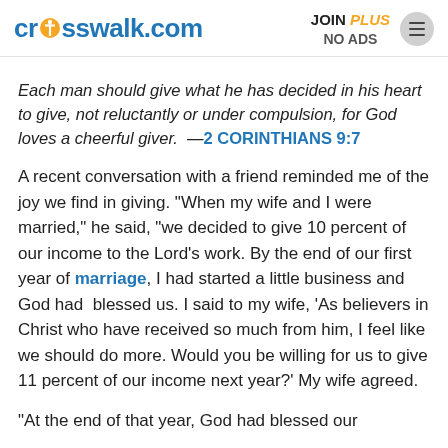crosswalk.com | JOIN PLUS NO ADS
Each man should give what he has decided in his heart to give, not reluctantly or under compulsion, for God loves a cheerful giver.  —2 CORINTHIANS 9:7
A recent conversation with a friend reminded me of the joy we find in giving. "When my wife and I were married," he said, "we decided to give 10 percent of our income to the Lord's work. By the end of our first year of marriage, I had started a little business and God had  blessed us. I said to my wife, 'As believers in Christ who have received so much from him, I feel like we should do more. Would you be willing for us to give 11 percent of our income next year?' My wife agreed.
"At the end of that year, God had blessed our